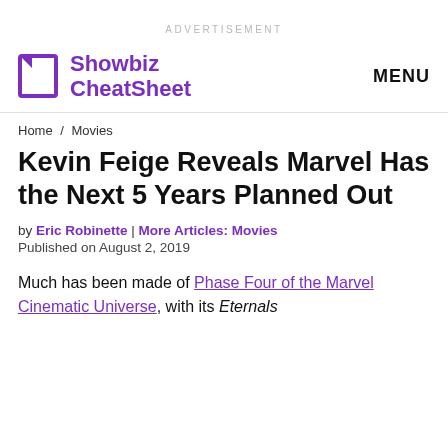ADVERTISEMENT
Showbiz CheatSheet   MENU
Home / Movies
Kevin Feige Reveals Marvel Has the Next 5 Years Planned Out
by Eric Robinette | More Articles: Movies
Published on August 2, 2019
Much has been made of Phase Four of the Marvel Cinematic Universe, with its Eternals